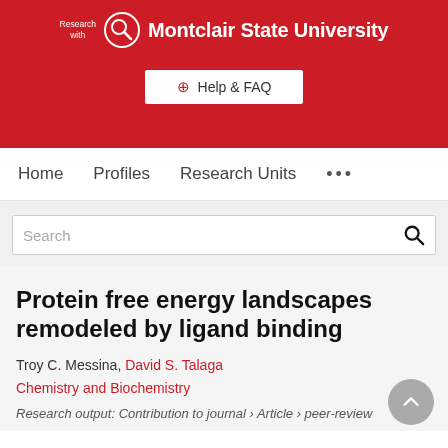[Figure (logo): Montclair State University 'Research with' logo on red background with Help & FAQ button]
Home   Profiles   Research Units   ...
Search
Protein free energy landscapes remodeled by ligand binding
Troy C. Messina, David S. Talaga
Chemistry and Biochemistry
Research output: Contribution to journal › Article › peer-review